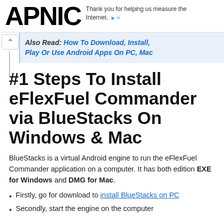APNIC — Thank you for helping us measure the Internet.
Also Read: How To Download, Install, Play Or Use Android Apps On PC, Mac
#1 Steps To Install eFlexFuel Commander via BlueStacks On Windows & Mac
BlueStacks is a virtual Android engine to run the eFlexFuel Commander application on a computer. It has both edition EXE for Windows and DMG for Mac.
Firstly, go for download to install BlueStacks on PC
Secondly, start the engine on the computer